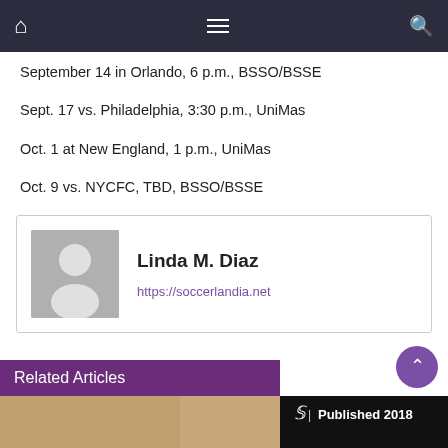Navigation bar with home icon, menu, and search
September 14 in Orlando, 6 p.m., BSSO/BSSE
Sept. 17 vs. Philadelphia, 3:30 p.m., UniMas
Oct. 1 at New England, 1 p.m., UniMas
Oct. 9 vs. NYCFC, TBD, BSSO/BSSE
Linda M. Diaz
https://soccerlandia.net
Related Articles
[Figure (photo): Bottom image strip with NYT published 2018 badge]